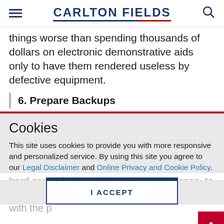CARLTON FIELDS
things worse than spending thousands of dollars on electronic demonstrative aids only to have them rendered useless by defective equipment.
6. Prepare Backups
Cookies
This site uses cookies to provide you with more responsive and personalized service. By using this site you agree to our Legal Disclaimer and Online Privacy and Cookie Policy.
I ACCEPT